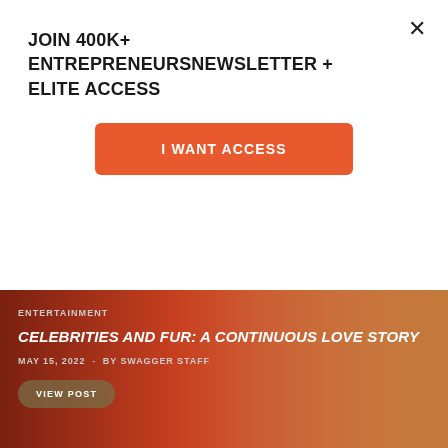JOIN 400K+ ENTREPRENEURS
NEWSLETTER + ELITE ACCESS
I WANT ACCESS
[Figure (photo): Dark red/orange toned image of a person silhouette against warm background — article card for Celebrities and Fur story]
ENTERTAINMENT
CELEBRITIES AND FUR: A CONTINUOUS LOVE STORY
MAY 15, 2022  -  BY SWAGGER STAFF
VIEW POST
[Figure (photo): Dark image with a decorative pillow featuring Scottish thistle motif — article card for Heartbox Scotland story]
ENTERTAINMENT
THE HISTORY BEHIND HEARTBOX SCOTLAND, BRINGING YOU SCOTLAND TO WHEREVER YOU ARE IN THE WORLD